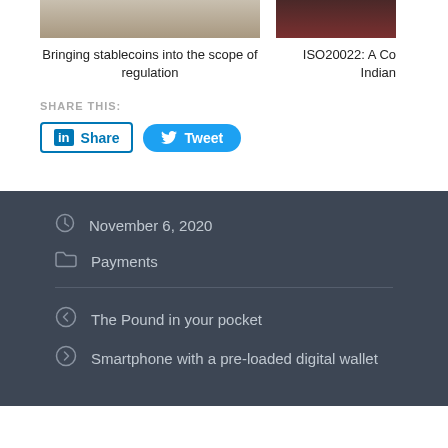[Figure (photo): Partial photo of a person (lower body), cropped at top]
Bringing stablecoins into the scope of regulation
[Figure (photo): Partial photo cropped at top right]
ISO20022: A Co Indian
SHARE THIS:
Share
Tweet
November 6, 2020
Payments
The Pound in your pocket
Smartphone with a pre-loaded digital wallet
COMMENTS ARE CLOSED.